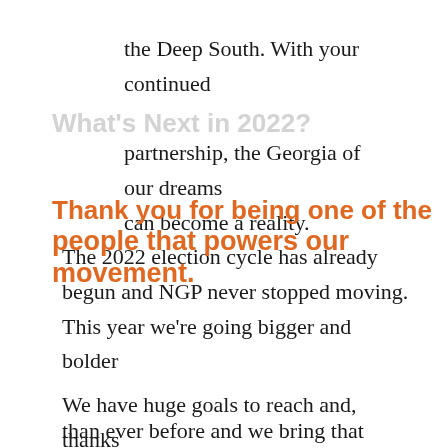the Deep South. With your continued partnership, the Georgia of our dreams can become a reality.
What's Next in 2022?
The 2022 election cycle has already begun and NGP never stopped moving. This year we're going bigger and bolder than ever before and we bring that can't stop, won't stop energy to everything we do.
Thank you for being one of the people that powers our movement.
We have huge goals to reach and, thanks to your support, we were able to kick off